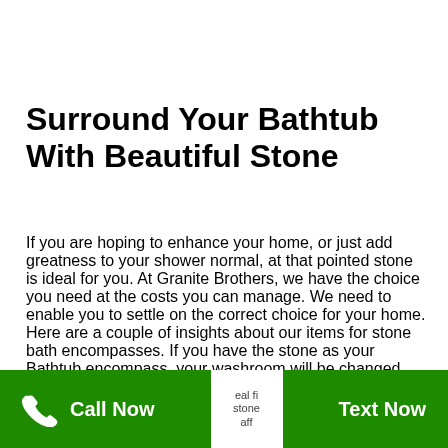Surround Your Bathtub With Beautiful Stone
If you are hoping to enhance your home, or just add greatness to your shower normal, at that pointed stone is ideal for you. At Granite Brothers, we have the choice you need at the costs you can manage. We need to enable you to settle on the correct choice for your home. Here are a couple of insights about our items for stone bath encompasses. If you have the stone as your Bathtub encompass, your washroom will be changed into something that is both eye-getting and mind-boggling. Stone
Call Now | Text Now